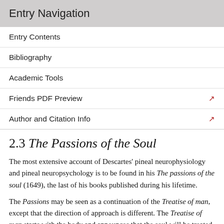Entry Navigation
Entry Contents
Bibliography
Academic Tools
Friends PDF Preview
Author and Citation Info
2.3 The Passions of the Soul
The most extensive account of Descartes' pineal neurophysiology and pineal neuropsychology is to be found in his The passions of the soul (1649), the last of his books published during his lifetime.
The Passions may be seen as a continuation of the Treatise of man, except that the direction of approach is different. The Treatise of man starts with the body and announces that the soul will be treated later. The